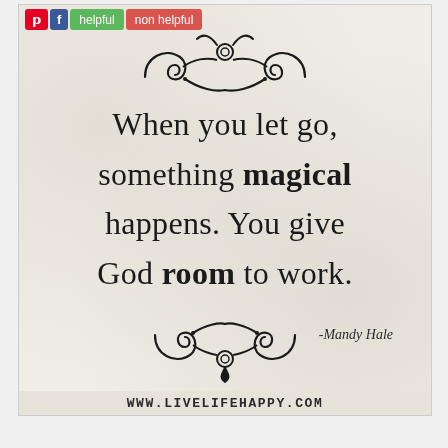[Figure (illustration): Decorative flourish/ornament at top of quote card]
When you let go, something magical happens. You give God room to work.
-Mandy Hale
[Figure (illustration): Decorative flourish/ornament at bottom of quote card]
WWW.LIVELIFEHAPPY.COM